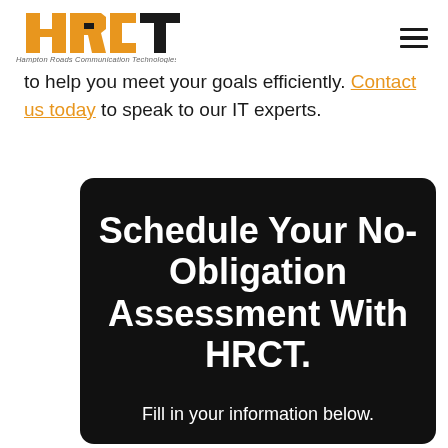HRCT - Hampton Roads Communication Technologies
to help you meet your goals efficiently. Contact us today to speak to our IT experts.
[Figure (infographic): Dark rounded rectangle banner with bold white text reading 'Schedule Your No-Obligation Assessment With HRCT.' and subtitle 'Fill in your information below.']